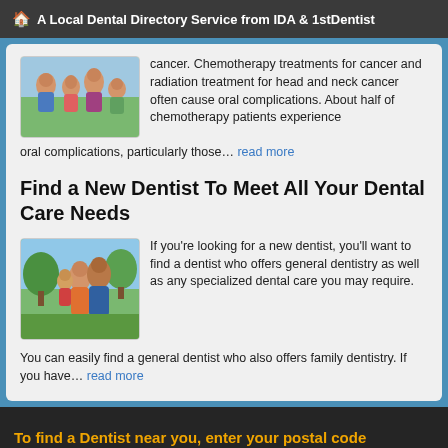A Local Dental Directory Service from IDA & 1stDentist
cancer. Chemotherapy treatments for cancer and radiation treatment for head and neck cancer often cause oral complications. About half of chemotherapy patients experience oral complications, particularly those… read more
Find a New Dentist To Meet All Your Dental Care Needs
If you're looking for a new dentist, you'll want to find a dentist who offers general dentistry as well as any specialized dental care you may require.
You can easily find a general dentist who also offers family dentistry. If you have… read more
To find a Dentist near you, enter your postal code